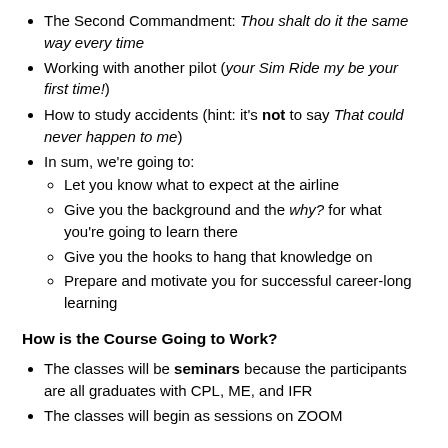The Second Commandment: Thou shalt do it the same way every time
Working with another pilot (your Sim Ride my be your first time!)
How to study accidents (hint: it's not to say That could never happen to me)
In sum, we're going to:
Let you know what to expect at the airline
Give you the background and the why? for what you're going to learn there
Give you the hooks to hang that knowledge on
Prepare and motivate you for successful career-long learning
How is the Course Going to Work?
The classes will be seminars because the participants are all graduates with CPL, ME, and IFR
The classes will begin as sessions on ZOOM